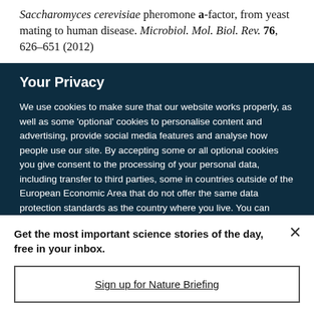Saccharomyces cerevisiae pheromone a-factor, from yeast mating to human disease. Microbiol. Mol. Biol. Rev. 76, 626–651 (2012)
Your Privacy
We use cookies to make sure that our website works properly, as well as some 'optional' cookies to personalise content and advertising, provide social media features and analyse how people use our site. By accepting some or all optional cookies you give consent to the processing of your personal data, including transfer to third parties, some in countries outside of the European Economic Area that do not offer the same data protection standards as the country where you live. You can decide which optional cookies to accept by clicking on 'Manage Settings', where you can
Get the most important science stories of the day, free in your inbox.
Sign up for Nature Briefing